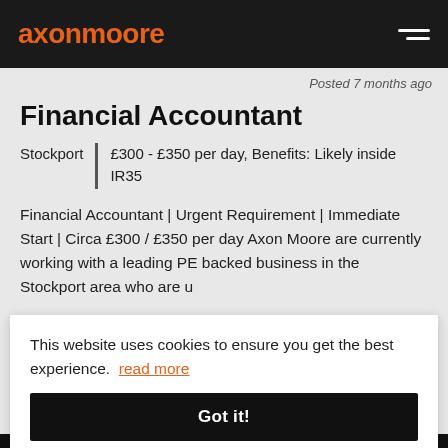axonmoore
Posted 7 months ago
Financial Accountant
Stockport | £300 - £350 per day, Benefits: Likely inside IR35
Financial Accountant | Urgent Requirement | Immediate Start | Circa £300 / £350 per day Axon Moore are currently working with a leading PE backed business in the Stockport area who are u...
This website uses cookies to ensure you get the best experience. read more
Got it!